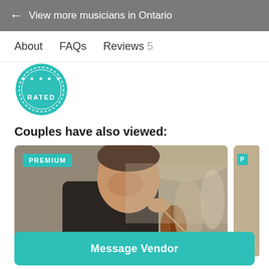← View more musicians in Ontario
About   FAQs   Reviews 5
[Figure (illustration): Teal circular badge with text 'RATED' visible at bottom, partially cropped]
Couples have also viewed:
[Figure (photo): A man in a black suit playing violin at an event, with a PREMIUM teal badge in the top-left corner. A second partially visible card is cropped on the right edge.]
Message Vendor